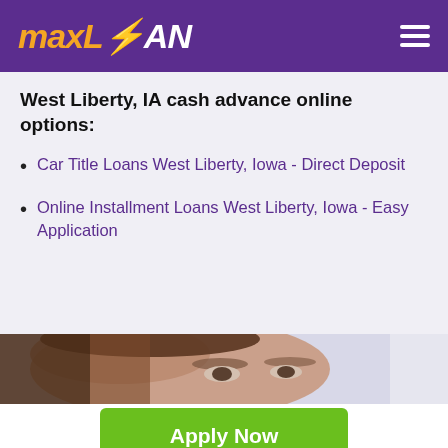maxLOAN
West Liberty, IA cash advance online options:
Car Title Loans West Liberty, Iowa - Direct Deposit
Online Installment Loans West Liberty, Iowa - Easy Application
[Figure (photo): Partial face of a young woman with brown hair, cropped to show eyes and forehead, with a light blurred background]
Apply Now
Applying does NOT affect your credit score!
No credit check to apply.